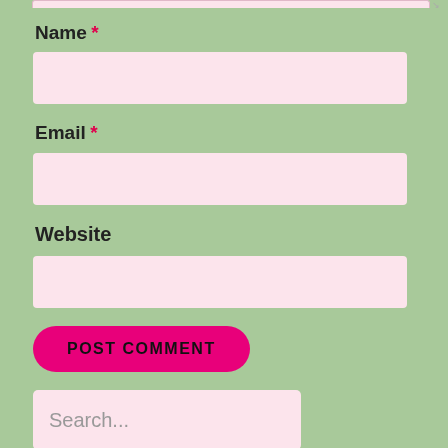Name *
[Figure (screenshot): Pink input field for Name]
Email *
[Figure (screenshot): Pink input field for Email]
Website
[Figure (screenshot): Pink input field for Website]
POST COMMENT
Search...